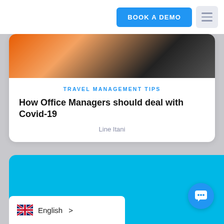BOOK A DEMO
[Figure (photo): Partial photo showing orange and dark tones, appears to be a travel or office scene, partially cropped at top of card]
TRAVEL MANAGEMENT TIPS
How Office Managers should deal with Covid-19
Line Itani
[Figure (photo): Blue background card with Scrabble-like letter tiles spelling out RESPONSIBILITY]
English >